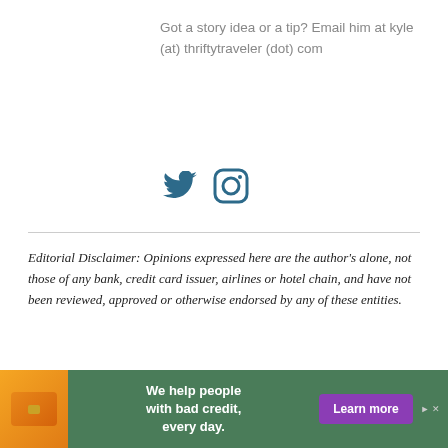Got a story idea or a tip? Email him at kyle (at) thriftytraveler (dot) com
[Figure (illustration): Twitter and Instagram social media icons in dark teal/blue color]
Editorial Disclaimer: Opinions expressed here are the author's alone, not those of any bank, credit card issuer, airlines or hotel chain, and have not been reviewed, approved or otherwise endorsed by any of these entities.
Disclaimer: The responses below are not provided or commissioned by the bank advertiser. Responses have not been reviewed, approved or otherwise endorsed by the bank advertiser. It is not the bank advertiser's responsibility to ensure all posts and/or questions are answered.
Leave a Reply
Your ... ed field...
[Figure (other): Advertisement banner: Premier Premier card image on orange background, text 'We help people with bad credit, every day.' with purple 'Learn more' button]